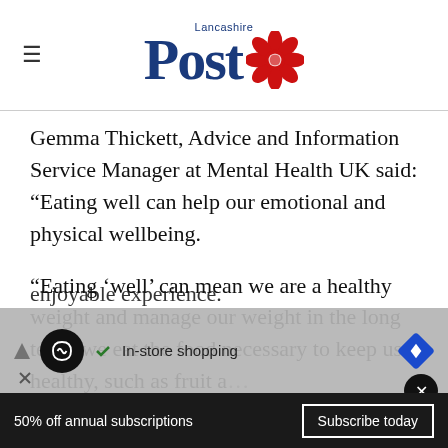Lancashire Post
Gemma Thickett, Advice and Information Service Manager at Mental Health UK said: “Eating well can help our emotional and physical wellbeing.
“Eating ‘well’ can mean we are a healthy weight and manage our weight in the long term, we eat the food necessary to keep us healthy, such as fruit a… enjoyable experience.
[Figure (other): Advertisement overlay with logo, checkmark, In-store shopping text, and navigation icon]
50% off annual subscriptions   Subscribe today